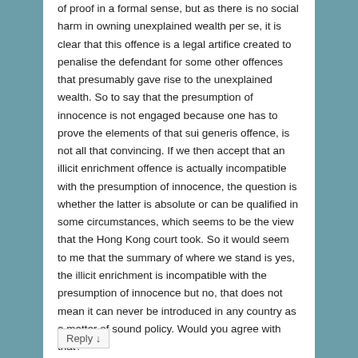of proof in a formal sense, but as there is no social harm in owning unexplained wealth per se, it is clear that this offence is a legal artifice created to penalise the defendant for some other offences that presumably gave rise to the unexplained wealth. So to say that the presumption of innocence is not engaged because one has to prove the elements of that sui generis offence, is not all that convincing. If we then accept that an illicit enrichment offence is actually incompatible with the presumption of innocence, the question is whether the latter is absolute or can be qualified in some circumstances, which seems to be the view that the Hong Kong court took. So it would seem to me that the summary of where we stand is yes, the illicit enrichment is incompatible with the presumption of innocence but no, that does not mean it can never be introduced in any country as a matter of sound policy. Would you agree with that?
Reply ↓